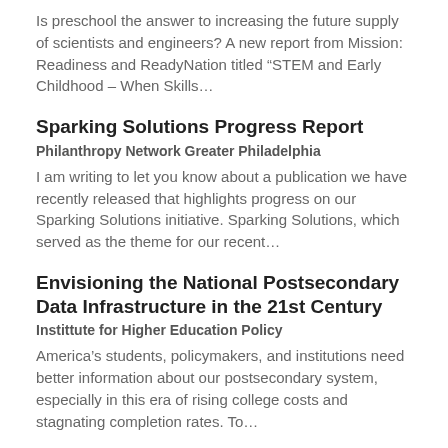Is preschool the answer to increasing the future supply of scientists and engineers? A new report from Mission: Readiness and ReadyNation titled “STEM and Early Childhood – When Skills…
Sparking Solutions Progress Report
Philanthropy Network Greater Philadelphia
I am writing to let you know about a publication we have recently released that highlights progress on our Sparking Solutions initiative. Sparking Solutions, which served as the theme for our recent…
Envisioning the National Postsecondary Data Infrastructure in the 21st Century
Instittute for Higher Education Policy
America’s students, policymakers, and institutions need better information about our postsecondary system, especially in this era of rising college costs and stagnating completion rates. To…